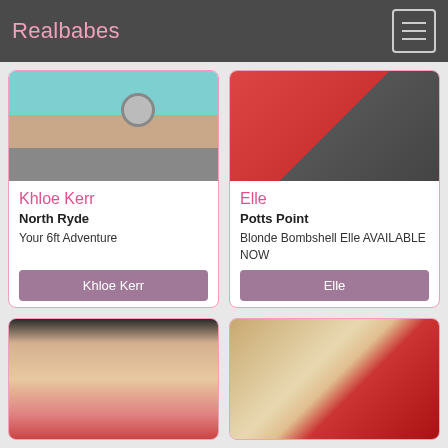Realbabes
Khloe Kerr
North Ryde
Your 6ft Adventure
Khloe Kerr
Elle
Potts Point
Blonde Bombshell Elle AVAILABLE NOW
Elle
[Figure (photo): Partial photo of person in teal/blue bottom near a desk with a clock]
[Figure (photo): Partial photo of person in red top and black shorts on a bed]
[Figure (photo): Brunette woman taking a mirror selfie in red lingerie]
[Figure (photo): Close-up photo of person in red lace lingerie on a bed]